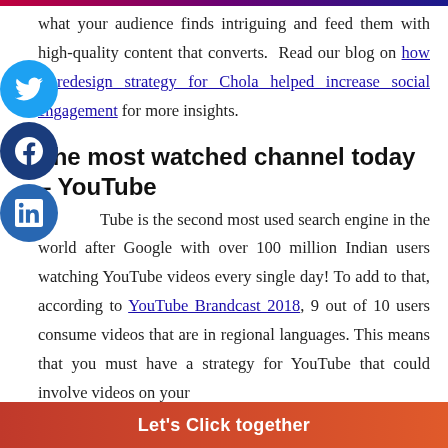what your audience finds intriguing and feed them with high-quality content that converts. Read our blog on how a redesign strategy for Chola helped increase social engagement for more insights.
The most watched channel today – YouTube
YouTube is the second most used search engine in the world after Google with over 100 million Indian users watching YouTube videos every single day! To add to that, according to YouTube Brandcast 2018, 9 out of 10 users consume videos that are in regional languages. This means that you must have a strategy for YouTube that could involve videos on your...
Let's Click together